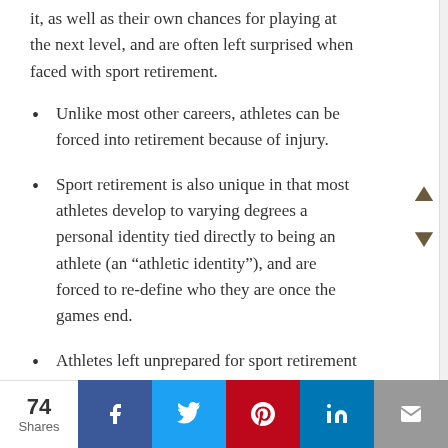it, as well as their own chances for playing at the next level, and are often left surprised when faced with sport retirement.
Unlike most other careers, athletes can be forced into retirement because of injury.
Sport retirement is also unique in that most athletes develop to varying degrees a personal identity tied directly to being an athlete (an "athletic identity"), and are forced to re-define who they are once the games end.
Athletes left unprepared for sport retirement have been found to have lower levels of career readiness, future planning, and holistic identity development.
74 Shares | Facebook | Twitter | Pinterest | LinkedIn | Email